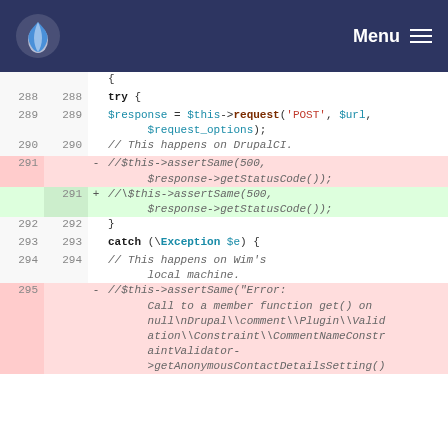Menu
[Figure (screenshot): Code diff view showing PHP code with line numbers, removed lines (red background) and added lines (green background). Lines 288-295 visible.]